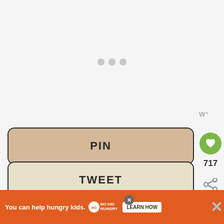[Figure (screenshot): Loading indicator with three grey dots centered on light grey background]
W°
PIN
TWEET
SHARE
717
You can help hungry kids. NOKID HUNGRY LEARN HOW